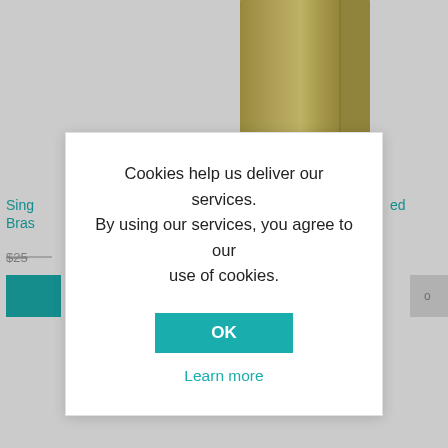[Figure (photo): Brushed brass/gold single-handle faucet shown from the top portion, with square tower body and base plate]
Sing... Bras...
$25...
Cookies help us deliver our services. By using our services, you agree to our use of cookies.
OK
Learn more